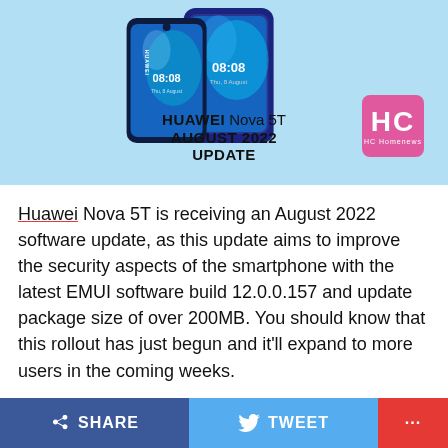[Figure (photo): Huawei Nova 5T smartphone promotional image on light blue background with HC Homenews logo. Text reads: HUAWEI Nova 5T AUGUST 2022 UPDATE]
Huawei Nova 5T is receiving an August 2022 software update, as this update aims to improve the security aspects of the smartphone with the latest EMUI software build 12.0.0.157 and update package size of over 200MB. You should know that this rollout has just begun and it'll expand to more users in the coming weeks.
According to the information, the August 2022 update is rolling out for the Huawei Nova 5T users that run EMUI 12
SHARE   TWEET   ...